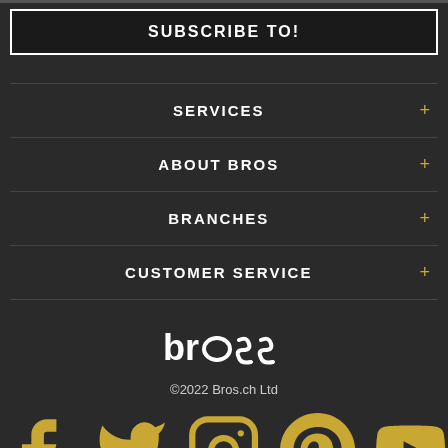SUBSCRIBE TO!
SERVICES +
ABOUT BROS +
BRANCHES +
CUSTOMER SERVICE +
[Figure (logo): Bros.ch logo - stylized text 'bros' in white]
©2022 Bros.ch Ltd
[Figure (infographic): Social media icons row: Facebook, Twitter, Instagram, Pinterest, YouTube - all in gold color]